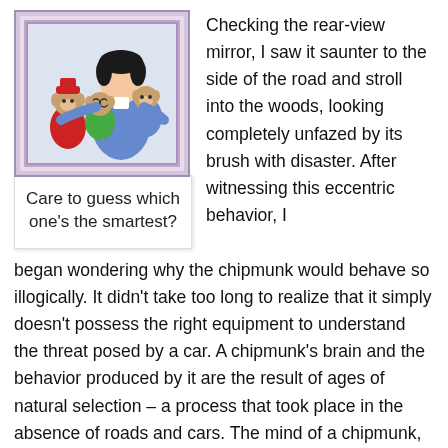[Figure (illustration): Cartoon illustration of a young man with three chipmunks — characters resembling Alvin and the Chipmunks — posing together in a framed photo style.]
Care to guess which one's the smartest?
Checking the rear-view mirror, I saw it saunter to the side of the road and stroll into the woods, looking completely unfazed by its brush with disaster. After witnessing this eccentric behavior, I began wondering why the chipmunk would behave so illogically. It didn't take too long to realize that it simply doesn't possess the right equipment to understand the threat posed by a car. A chipmunk's brain and the behavior produced by it are the result of ages of natural selection – a process that took place in the absence of roads and cars. The mind of a chipmunk, therefore, is incapable of properly interpreting the data coming its way, especially when it's coming at 60